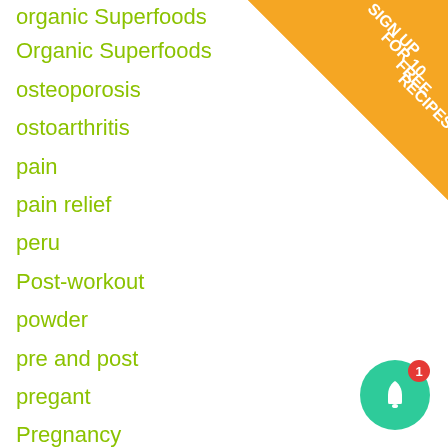organic Superfoods
Organic Superfoods
osteoporosis
ostoarthritis
pain
pain relief
peru
Post-workout
powder
pre and post
pregant
Pregnancy
protein
protein powder
Pumpkin seeds
[Figure (infographic): Orange triangular corner banner with white text reading SIGN UP FOR 10 FREE RECIPES]